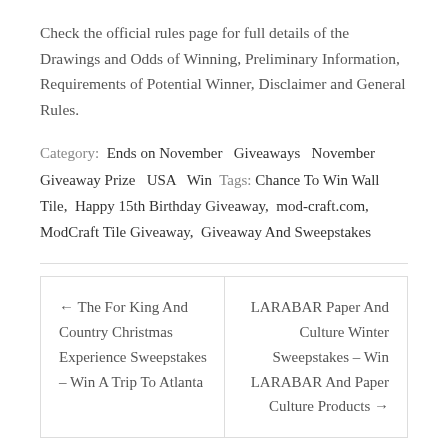Check the official rules page for full details of the Drawings and Odds of Winning, Preliminary Information, Requirements of Potential Winner, Disclaimer and General Rules.
Category: Ends on November  Giveaways  November Giveaway Prize  USA  Win  Tags: Chance To Win Wall Tile,  Happy 15th Birthday Giveaway,  mod-craft.com,  ModCraft Tile Giveaway,  Giveaway And Sweepstakes
← The For King And Country Christmas Experience Sweepstakes – Win A Trip To Atlanta
LARABAR Paper And Culture Winter Sweepstakes – Win LARABAR And Paper Culture Products →